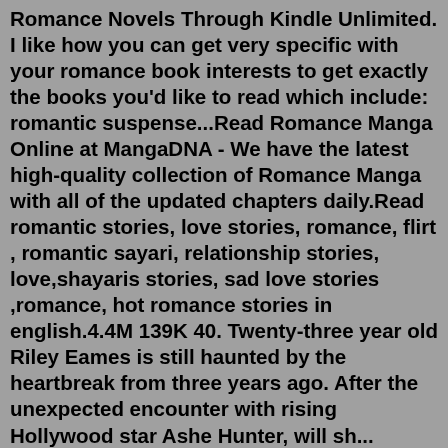Romance Novels Through Kindle Unlimited. I like how you can get very specific with your romance book interests to get exactly the books you'd like to read which include: romantic suspense...Read Romance Manga Online at MangaDNA - We have the latest high-quality collection of Romance Manga with all of the updated chapters daily.Read romantic stories, love stories, romance, flirt , romantic sayari, relationship stories, love,shayaris stories, sad love stories ,romance, hot romance stories in english.4.4M 139K 40. Twenty-three year old Riley Eames is still haunted by the heartbreak from three years ago. After the unexpected encounter with rising Hollywood star Ashe Hunter, will sh... Completed. betrayal. actor. Complete list of the best Romance manga on MangaHasu.Any love related story. Romance. Any love related story. We will define love as between man and woman in this case.Kennedy Ryan is one of romance's most acclaimed self-published authors. Her last traditionally published title was released in 2016, but she's making a grand